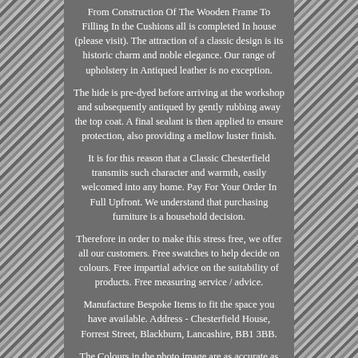From Construction Of The Wooden Frame To Filling In the Cushions all is completed In house (please visit). The attraction of a classic design is its historic charm and noble elegance. Our range of upholstery in Antiqued leather is no exception.
The hide is pre-dyed before arriving at the workshop and subsequently antiqued by gently rubbing away the top coat. A final sealant is then applied to ensure protection, also providing a mellow luster finish.
It is for this reason that a Classic Chesterfield transmits such character and warmth, easily welcomed into any home. Pay For Your Order In Full Upfront. We understand that purchasing furniture is a household decision.
Therefore in order to make this stress free, we offer all our customers. Free swatches to help decide on colours. Free impartial advice on the suitability of products. Free measuring service / advice.
Manufacture Bespoke Items to fit the space you have available. Address - Chesterfield House, Forrest Street, Blackburn, Lancashire, BB1 3BB.
The Colours in the photo image are as accurate as possible within the tolerances of the desktop screen. Please therefore ensure you request one of our free leather samples. When orders are placed online they are automatically confirmed. By making and delivering your furniture to order we are able to